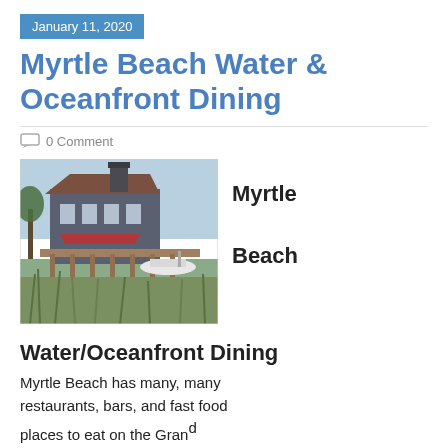January 11, 2020
Myrtle Beach Water & Oceanfront Dining
0 Comment
[Figure (photo): Waterfront building/restaurant with dock and marsh grasses, boats visible in background]
Myrtle Beach
Water/Oceanfront Dining
Myrtle Beach has many, many restaurants, bars, and fast food places to eat on the Grand...